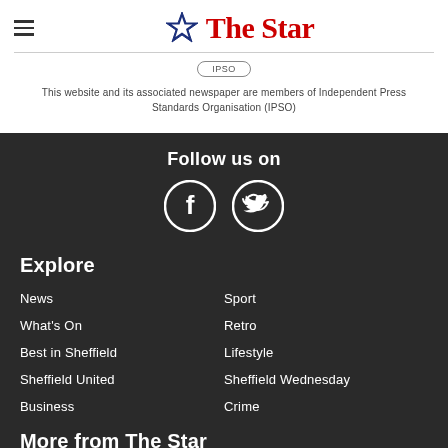[Figure (logo): The Star newspaper logo with blue star icon and red bold text 'The Star']
This website and its associated newspaper are members of Independent Press Standards Organisation (IPSO)
Follow us on
[Figure (illustration): Facebook and Twitter social media icons in white circles on dark background]
Explore
News
Sport
What's On
Retro
Best in Sheffield
Lifestyle
Sheffield United
Sheffield Wednesday
Business
Crime
More from The Star